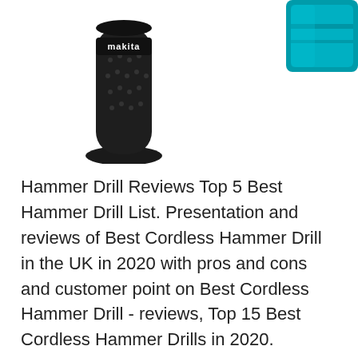[Figure (photo): Product photo of a Makita cordless drill handle/grip (black), left side of page top]
[Figure (photo): Product photo showing teal/turquoise Makita battery or drill box, top right corner, partially cropped]
Hammer Drill Reviews Top 5 Best Hammer Drill List. Presentation and reviews of Best Cordless Hammer Drill in the UK in 2020 with pros and cons and customer point on Best Cordless Hammer Drill - reviews, Top 15 Best Cordless Hammer Drills in 2020. January 23, 2020 January 23, 2020 admin. Best Cordless Hammer Drills. Hammer Drills are equipped with a masonry bit and are usually designed to drill into concrete, stone, brick or mortar. During its operation, the hammer drill rotates normally like a drill and at